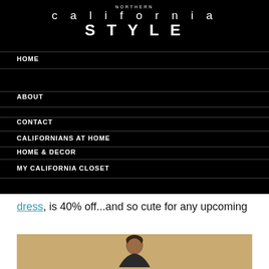NORTHERN california STYLE
HOME
ABOUT
CONTACT
CALIFORNIANS AT HOME
HOME & DECOR
MY CALIFORNIA CLOSET
dress, is 40% off...and so cute for any upcoming holiday parties.
[Figure (photo): Woman in a dress posing against a golden/tan background, photo cropped at bottom showing upper body and face]